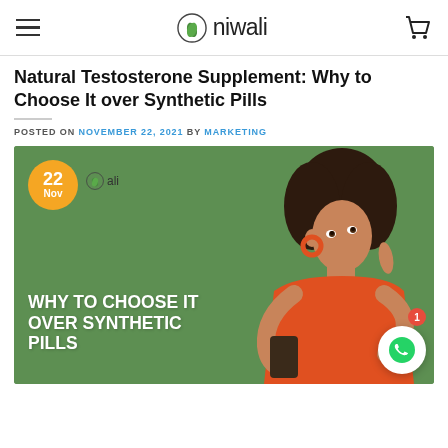niwali (navigation header with hamburger menu and cart icon)
Natural Testosterone Supplement: Why to Choose It over Synthetic Pills
POSTED ON NOVEMBER 22, 2021 BY MARKETING
[Figure (photo): Blog featured image on green background showing a Black woman with afro hair in orange top holding a phone and touching her chin thoughtfully. Text overlay reads WHY TO CHOOSE IT OVER SYNTHETIC PILLS. Orange date badge shows 22 Nov. Small niwali logo visible. WhatsApp button in bottom right corner with red notification badge showing 1.]